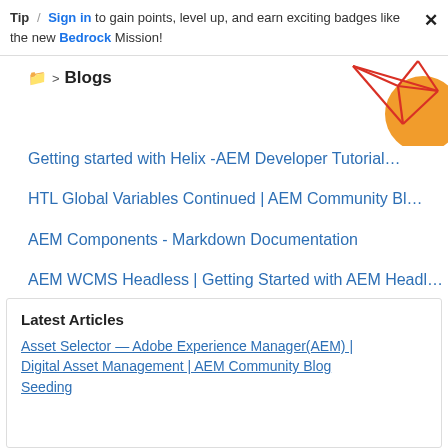Tip / Sign in to gain points, level up, and earn exciting badges like the new Bedrock Mission!
📁 > Blogs
[Figure (illustration): Abstract geometric graphic with red lines forming diamond/star shapes and an orange semicircle, positioned at the top right of the blogs section]
Getting started with Helix -AEM Developer Tutorial…
HTL Global Variables Continued | AEM Community Bl…
AEM Components - Markdown Documentation
AEM WCMS Headless | Getting Started with AEM Headl…
Latest Articles
Asset Selector — Adobe Experience Manager(AEM) | Digital Asset Management | AEM Community Blog Seeding